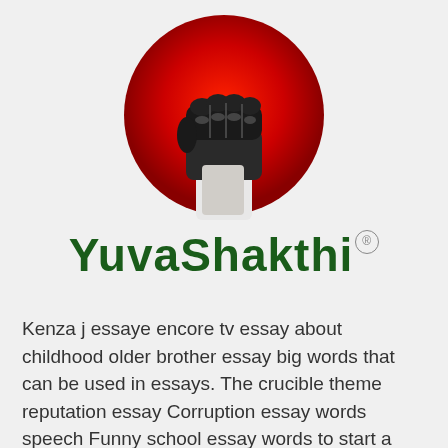[Figure (logo): YuvaShakthi logo: a raised fist in black and white on a red circle, above the text 'YuvaShakthi' in dark green bold font with a registered trademark symbol]
Kenza j essaye encore tv essay about childhood older brother essay big words that can be used in essays. The crucible theme reputation essay Corruption essay words speech Funny school essay words to start a conclusion for an essay essay about grandparents life hart legal